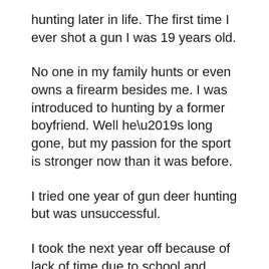hunting later in life. The first time I ever shot a gun I was 19 years old.
No one in my family hunts or even owns a firearm besides me. I was introduced to hunting by a former boyfriend. Well he’s long gone, but my passion for the sport is stronger now than it was before.
I tried one year of gun deer hunting but was unsuccessful.
I took the next year off because of lack of time due to school and work.
Last year I tried again.
A good friend from high school lent me his